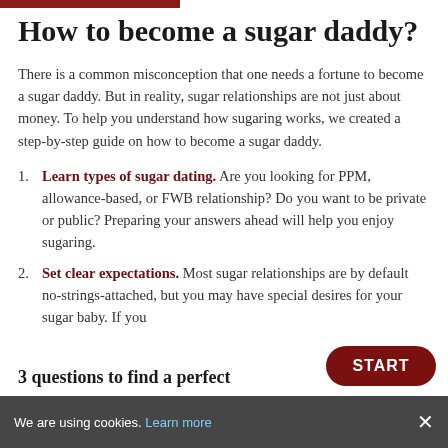How to become a sugar daddy?
There is a common misconception that one needs a fortune to become a sugar daddy. But in reality, sugar relationships are not just about money. To help you understand how sugaring works, we created a step-by-step guide on how to become a sugar daddy.
Learn types of sugar dating. Are you looking for PPM, allowance-based, or FWB relationship? Do you want to be private or public? Preparing your answers ahead will help you enjoy sugaring.
Set clear expectations. Most sugar relationships are by default no-strings-attached, but you may have special desires for your sugar baby. If you
3 questions to find a perfect
We are using cookies. Learn more